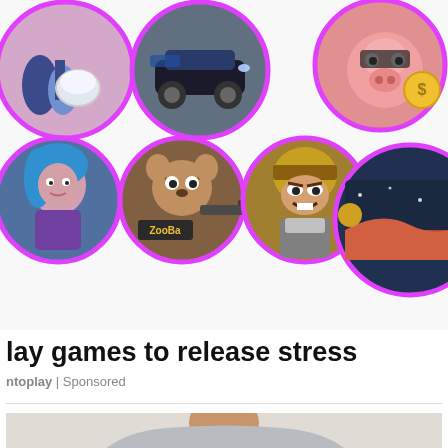[Figure (illustration): Advertisement banner showing colorful mobile game icons in circular frames with pink/purple borders: characters, racing car, pig with coin, shooter game, warrior character, and abstract game scene]
lay games to release stress
ntoplay | Sponsored
[Figure (photo): Woman in gray long-sleeve shirt with hands placed on chest, photographed from neck down, against light gray background]